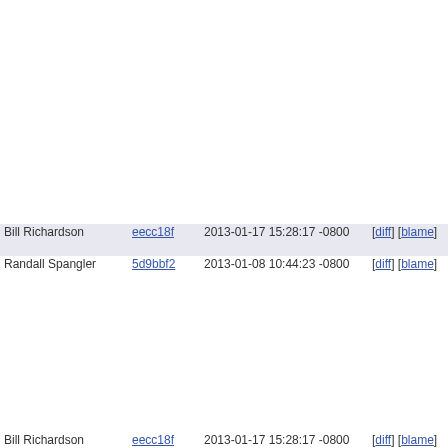| Author | Hash | Date | Links | Line | Code |
| --- | --- | --- | --- | --- | --- |
|  |  |  |  | 231 |  |
|  |  |  |  | 232 |  |
|  |  |  |  | 233 |  |
|  |  |  |  | 234 |  |
|  |  |  |  | 235 |  |
|  |  |  |  | 236 |  |
|  |  |  |  | 237 |  |
|  |  |  |  | 238 |  |
|  |  |  |  | 239 |  |
|  |  |  |  | 240 |  |
|  |  |  |  | 241 |  |
|  |  |  |  | 242 |  |
|  |  |  |  | 243 |  |
|  |  |  |  | 244 |  |
| Bill Richardson | eecc18f | 2013-01-17 15:28:17 -0800 | [diff] [blame] | 245 | # |
|  |  |  |  | 246 | i |
| Randall Spangler | 5d9bbf2 | 2013-01-08 10:44:23 -0800 | [diff] [blame] | 247 | F |
|  |  |  |  | 248 |  |
|  |  |  |  | 249 |  |
|  |  |  |  | 250 |  |
|  |  |  |  | 251 | e |
|  |  |  |  | 252 | F |
|  |  |  |  | 253 |  |
|  |  |  |  | 254 |  |
|  |  |  |  | 255 |  |
|  |  |  |  | 256 | e |
|  |  |  |  | 257 |  |
| Bill Richardson | eecc18f | 2013-01-17 15:28:17 -0800 | [diff] [blame] | 258 | i |